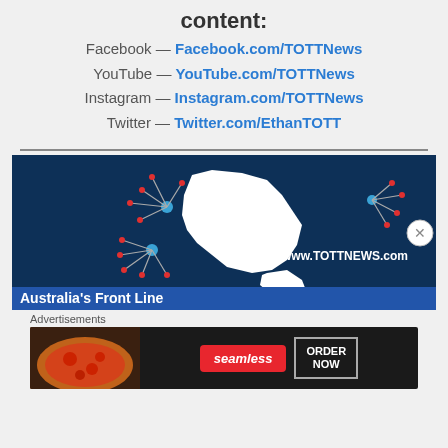content:
Facebook — Facebook.com/TOTTNews
YouTube — YouTube.com/TOTTNews
Instagram — Instagram.com/TOTTNews
Twitter — Twitter.com/EthanTOTT
[Figure (illustration): TOTT News banner with dark blue background showing Australia map silhouette, network nodes with red dots, and text www.TOTTNEWS.com and Australia's Front Line]
Advertisements
[Figure (illustration): Seamless food delivery advertisement showing pizza image on left, seamless logo in red, and ORDER NOW button on right]